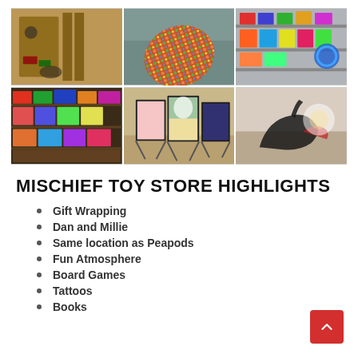[Figure (photo): 6-photo collage of Mischief Toy Store: store interior with toys, colorful gift wrap roll, shelves of colorful products, board games display, art prints on easels, dinosaur toy figure]
MISCHIEF TOY STORE HIGHLIGHTS
Gift Wrapping
Dan and Millie
Same location as Peapods
Fun Atmosphere
Board Games
Tattoos
Books